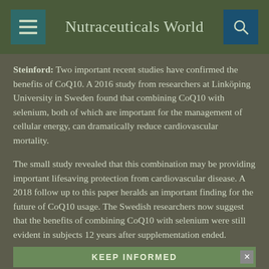Nutraceuticals World
Steinford: Two important recent studies have confirmed the benefits of CoQ10. A 2016 study from researchers at Linköping University in Sweden found that combining CoQ10 with selenium, both of which are important for the management of cellular energy, can dramatically reduce cardiovascular mortality.
The small study revealed that this combination may be providing important lifesaving protection from cardiovascular disease. A 2018 follow up to this paper heralds an important finding for the future of CoQ10 usage. The Swedish researchers now suggest that the benefits of combining CoQ10 with selenium were still evident in subjects 12 years after supplementation ended.
KEEP INFORMED
SIGN UP TO RECEIVE OUR FREE ENEWSLETTER!
NUTRACEUTICALS WORLD MAGAZINE